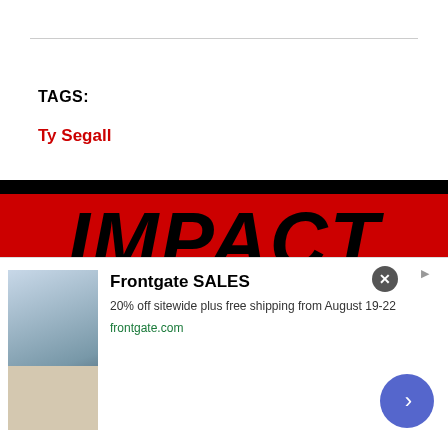TAGS:
Ty Segall
[Figure (logo): IMPACT banner in red and black with large bold black italic text reading IMPACT]
View All
[Figure (photo): Dark background with fur/hair visible at bottom, dark music-related imagery]
[Figure (infographic): Advertisement for Frontgate SALES: 20% off sitewide plus free shipping from August 19-22, frontgate.com, with patio furniture image and blue CTA button with arrow]